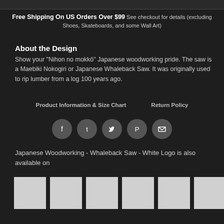[Figure (other): Top partial image strip of a product]
Free Shipping On US Orders Over $99 See checkout for details (excluding Shoes, Skateboards, and some Wall Art)
About the Design
Show your "Nihon no mokkō" Japanese woodworking pride. The saw is a Maebiki Nokogiri or Japanese Whaleback Saw. It was originally used to rip lumber from a log 100 years ago.
Product Information & Size Chart    Return Policy
[Figure (infographic): Social share icons: Facebook, Tumblr, Twitter, Pinterest, Email]
Japanese Woodworking - Whaleback Saw - White Logo is also available on
[Figure (photo): Six product thumbnail images shown as white/light squares]